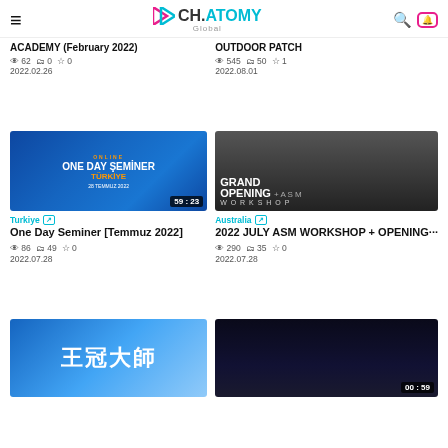CH.ATOMY Global
ACADEMY (February 2022)
👁 62  🗂 0  ☆ 0
2022.02.26
OUTDOOR PATCH
👁 545  🗂 50  ☆ 1
2022.08.01
[Figure (photo): Online One Day Seminar Türkiye thumbnail with blue space background]
[Figure (photo): Grand Opening + ASM Workshop group photo]
Turkiye
One Day Seminer [Temmuz 2022]
👁 86  🗂 49  ☆ 0
2022.07.28
Australia
2022 JULY ASM WORKSHOP + OPENING···
👁 290  🗂 35  ☆ 0
2022.07.28
[Figure (photo): Taiwan event photo with Chinese characters 王冠大師 and person on stage]
[Figure (photo): Dark space/stars background video thumbnail with time 00:59]